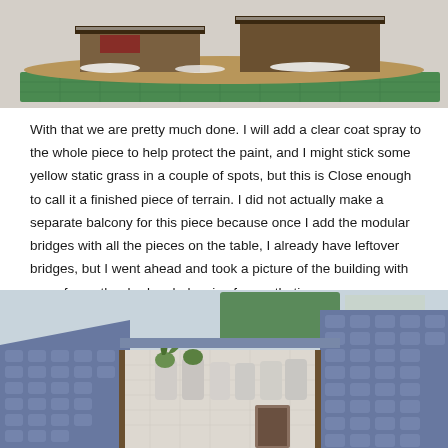[Figure (photo): Photo of a painted miniature terrain piece (building/barn) on a green cutting mat, viewed from the front/side, with snow and earthy textures on the base.]
With that we are pretty much done. I will add a clear coat spray to the whole piece to help protect the paint, and I might stick some yellow static grass in a couple of spots, but this is Close enough to call it a finished piece of terrain. I did not actually make a separate balcony for this piece because once I add the modular bridges with all the pieces on the table, I already have leftover bridges, but I went ahead and took a picture of the building with one of my other broken balconies for aesthetic purposes.
[Figure (photo): Photo of a painted miniature building with blue-grey shingle rooftops, white stone-textured walls, and small potted plant details, set on a workbench with various hobby supplies in the background.]